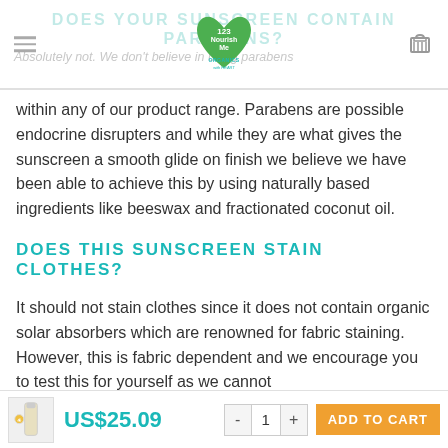DOES YOUR SUNSCREEN CONTAIN PARABENS?
Absolutely not. We don't believe in using parabens within any of our product range. Parabens are possible endocrine disrupters and while they are what gives the sunscreen a smooth glide on finish we believe we have been able to achieve this by using naturally based ingredients like beeswax and fractionated coconut oil.
DOES THIS SUNSCREEN STAIN CLOTHES?
It should not stain clothes since it does not contain organic solar absorbers which are renowned for fabric staining. However, this is fabric dependent and we encourage you to test this for yourself as we cannot
US$25.09 | ADD TO CART